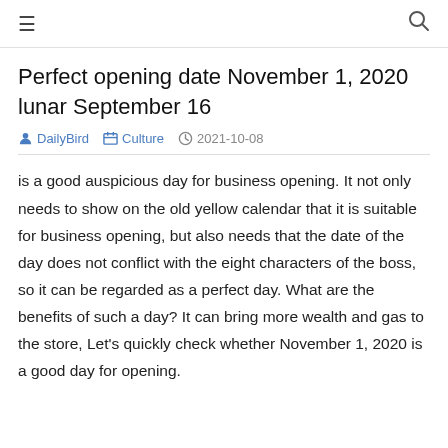≡  🔍
Perfect opening date November 1, 2020 lunar September 16
DailyBird  Culture  2021-10-08
is a good auspicious day for business opening. It not only needs to show on the old yellow calendar that it is suitable for business opening, but also needs that the date of the day does not conflict with the eight characters of the boss, so it can be regarded as a perfect day. What are the benefits of such a day? It can bring more wealth and gas to the store, Let's quickly check whether November 1, 2020 is a good day for opening.